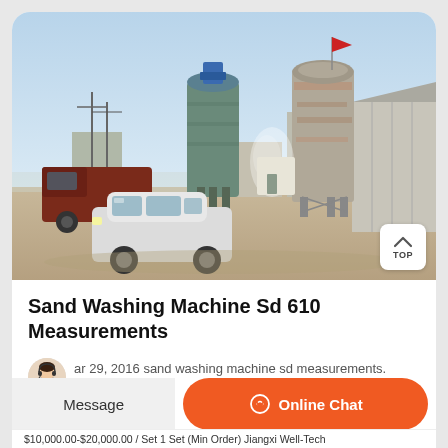[Figure (photo): Industrial facility with two large cylindrical silos/towers, trucks, a white SUV in the foreground, and industrial buildings under a blue sky. A red flag is visible atop the right silo.]
Sand Washing Machine Sd 610 Measurements
ar 29, 2016 sand washing machine sd measurements. Sand
$10,000.00-$20,000.00 / Set 1 Set (Min Order) Jiangxi Well-Tech